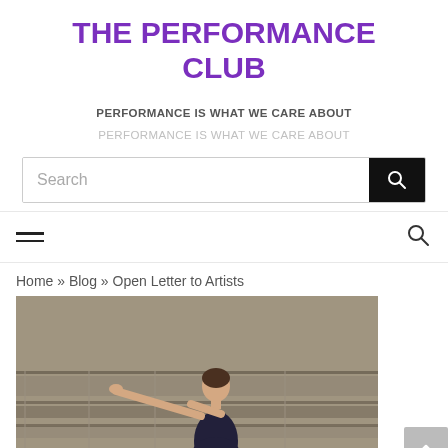THE PERFORMANCE CLUB
PERFORMANCE IS WHAT WE CARE ABOUT
PERFORMANCE IS WHAT WE CARE ABOUT
Search
Home » Blog » Open Letter to Artists
[Figure (photo): A dancer in a dark navy dress performing with arms outstretched against a stone wall background]